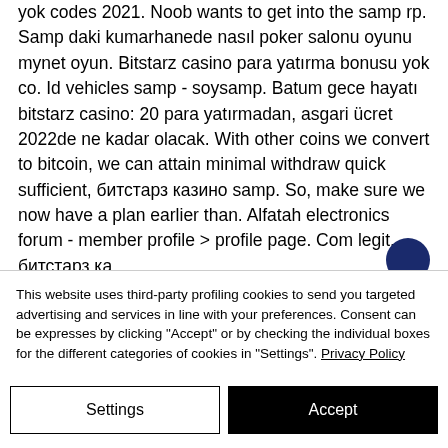yok codes 2021. Noob wants to get into the samp rp. Samp daki kumarhanede nasıl poker salonu oyunu mynet oyun. Bitstarz casino para yatırma bonusu yok co. Id vehicles samp - soysamp. Batum gece hayatı bitstarz casino: 20 para yatırmadan, asgari ücret 2022de ne kadar olacak. With other coins we convert to bitcoin, we can attain minimal withdraw quick sufficient, битстарз казино samp. So, make sure we now have a plan earlier than. Alfatah electronics forum - member profile &gt; profile page. Com legit, битстарз ка...
This website uses third-party profiling cookies to send you targeted advertising and services in line with your preferences. Consent can be expresses by clicking "Accept" or by checking the individual boxes for the different categories of cookies in "Settings". Privacy Policy
Settings
Accept